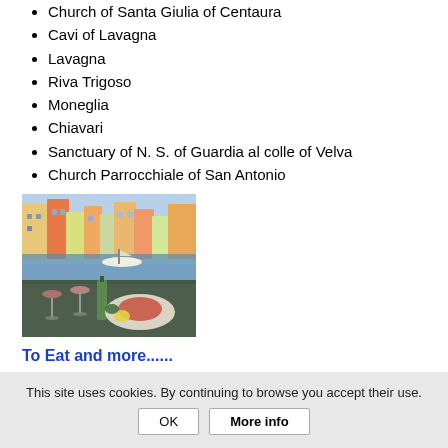Church of Santa Giulia of Centaura
Cavi of Lavagna
Lavagna
Riva Trigoso
Moneglia
Chiavari
Sanctuary of N. S. of Guardia al colle of Velva
Church Parrocchiale of San Antonio
[Figure (photo): A restaurant table with wine glasses, a bottle, and a seafood dish (possibly tuna tartare), with a colorful Italian coastal town harbor in the background featuring boats and pastel-colored buildings.]
To Eat and more......
This site uses cookies. By continuing to browse you accept their use.